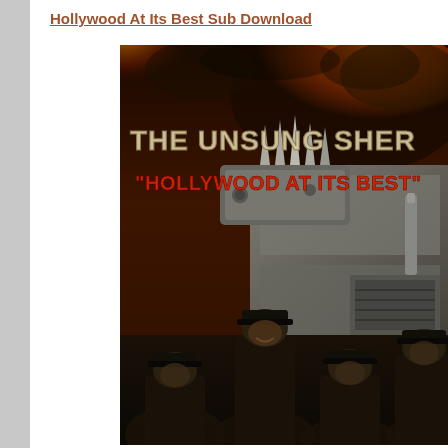Hollywood At Its Best Sub Download
[Figure (photo): Movie poster for 'The Unsung Shero - Hollywood At Its Best' showing four Black women in black tactical gear and hats in front of a large armored truck with spikes, with explosion and fire in the background. The title 'THE UNSUNG SHERO' appears in large metallic letters at the top, and '"HOLLYWOOD AT ITS BEST"' in large red letters below it.]